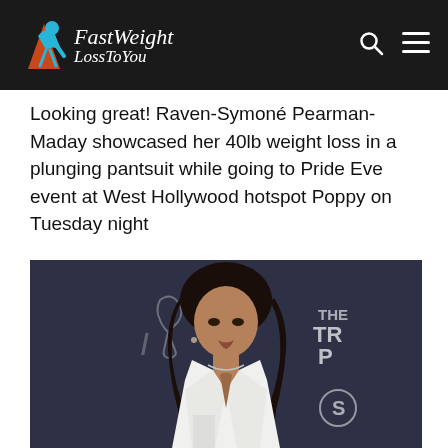FastWeightLossToYou [logo]
Looking great! Raven-Symoné Pearman-Maday showcased her 40lb weight loss in a plunging pantsuit while going to Pride Eve event at West Hollywood hotspot Poppy on Tuesday night
[Figure (photo): Raven-Symoné Pearman-Maday posing at an event wearing a white plunging pantsuit with long curly hair, event backdrop visible behind her with text 'THE TR P' and 'S']